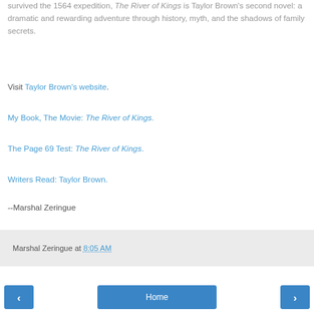survived the 1564 expedition, The River of Kings is Taylor Brown's second novel: a dramatic and rewarding adventure through history, myth, and the shadows of family secrets.
Visit Taylor Brown's website.
My Book, The Movie: The River of Kings.
The Page 69 Test: The River of Kings.
Writers Read: Taylor Brown.
--Marshal Zeringue
Marshal Zeringue at 8:05 AM
Home